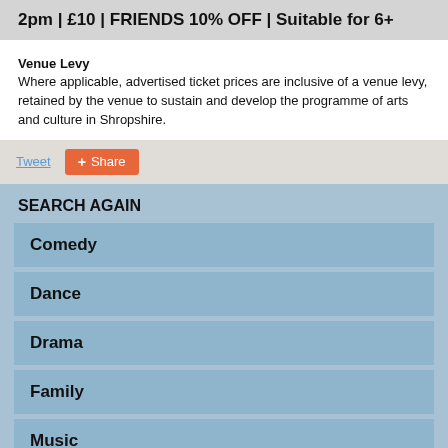2pm | £10 | FRIENDS 10% OFF | Suitable for 6+
Venue Levy
Where applicable, advertised ticket prices are inclusive of a venue levy, retained by the venue to sustain and develop the programme of arts and culture in Shropshire.
Tweet  Share
SEARCH AGAIN
Comedy
Dance
Drama
Family
Music